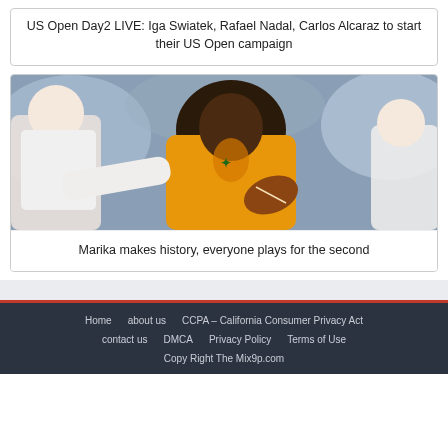US Open Day2 LIVE: Iga Swiatek, Rafael Nadal, Carlos Alcaraz to start their US Open campaign
[Figure (photo): Rugby player in yellow/gold Australian Wallabies jersey holding a ball during a match, being tackled by players in white jerseys]
Marika makes history, everyone plays for the second
Home   about us   CCPA – California Consumer Privacy Act   contact us   DMCA   Privacy Policy   Terms of Use   Copy Right The Mix9p.com